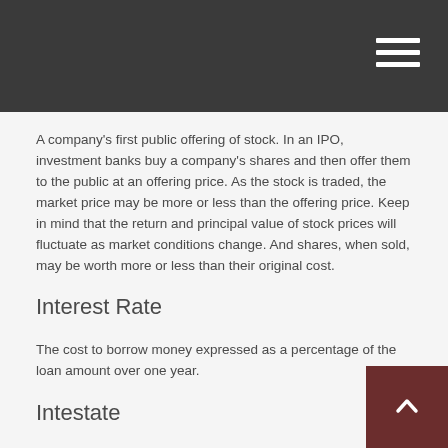A company's first public offering of stock. In an IPO, investment banks buy a company's shares and then offer them to the public at an offering price. As the stock is traded, the market price may be more or less than the offering price. Keep in mind that the return and principal value of stock prices will fluctuate as market conditions change. And shares, when sold, may be worth more or less than their original cost.
Interest Rate
The cost to borrow money expressed as a percentage of the loan amount over one year.
Intestate
The condition of an estate when its owner dies without leaving a valid will. In such circumstances, state law normally determines who inherits property and who serves as guardian for any minor